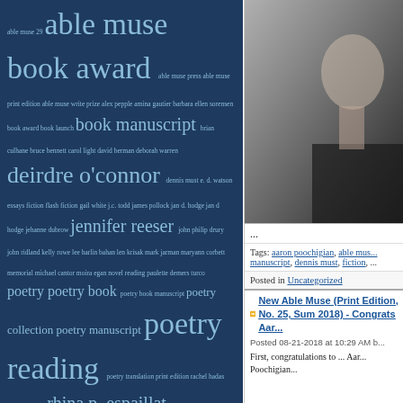able muse 29 able muse book award able muse press able muse print edition able muse write prize alex pepple amina gautier barbara ellen sorensen book award book launch book manuscript brian culhane bruce bennett carol light david berman deborah warren deirdre o'connor dennis must e. d. watson essays fiction flash fiction gail white j.c. todd james pollock jan d. hodge jan d hodge jehanne dubrow jennifer reeser john philip drury john ridland kelly rowe lee harlin bahan len krisak mark jarman maryann corbett memorial michael cantor moira egan novel reading paulette demers turco poetry poetry book poetry book manuscript poetry collection poetry manuscript poetry reading poetry translation print edition rachel hadas rebecca starks rhina p. espaillat richard wakefield rob wright rosemerry wahtola trommer sally thomas susan mclean west chester university will cordeiro william baer william conelly winner write prize zoom poetry reading zoom reading
[Figure (photo): Black and white portrait photo of a man (partially cropped), wearing a dark top, looking slightly to the side]
...
Tags: aaron poochigian, able mus... manuscript, dennis must, fiction, ...
Posted in Uncategorized
New Able Muse (Print Edition, No. 25, Sum 2018) - Congrats Aar...
Posted 08-21-2018 at 10:29 AM b...
First, congratulations to ... Aar... Poochigian...